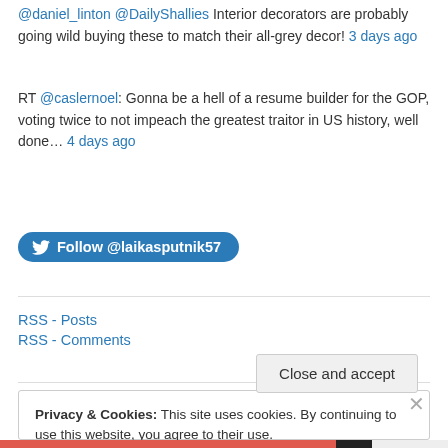@daniel_linton @DailyShallies Interior decorators are probably going wild buying these to match their all-grey decor! 3 days ago
RT @caslernoel: Gonna be a hell of a resume builder for the GOP, voting twice to not impeach the greatest traitor in US history, well done… 4 days ago
Follow @laikasputnik57
RSS - Posts
RSS - Comments
Privacy & Cookies: This site uses cookies. By continuing to use this website, you agree to their use. To find out more, including how to control cookies, see here: Cookie Policy
Close and accept